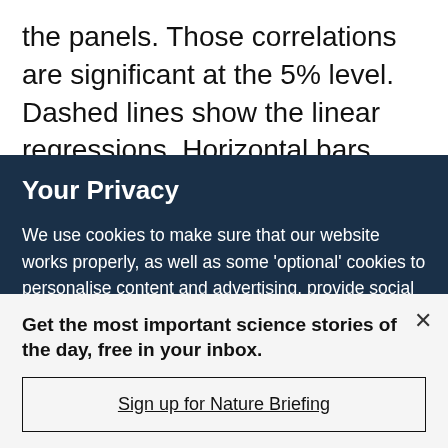the panels. Those correlations are significant at the 5% level. Dashed lines show the linear regressions. Horizontal bars indicate the 5–95%
Your Privacy
We use cookies to make sure that our website works properly, as well as some 'optional' cookies to personalise content and advertising, provide social media features and analyse how people use our site. By accepting some or all optional cookies you give consent to the processing of your personal data, including transfer to third parties, some in countries outside of the European Economic Area that do not offer the same data protection standards as the country where you live. You can decide which optional cookies to accept by clicking on 'Manage Settings', where you can
Get the most important science stories of the day, free in your inbox.
Sign up for Nature Briefing